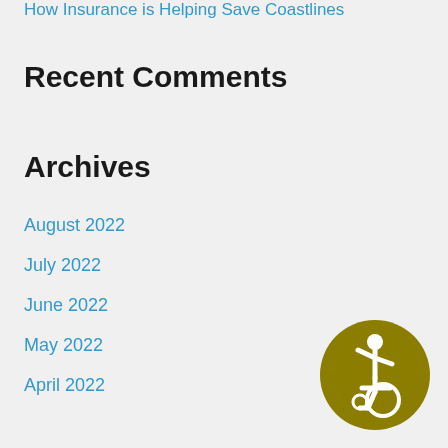How Insurance is Helping Save Coastlines
Recent Comments
Archives
August 2022
July 2022
June 2022
May 2022
April 2022
March 2022
February 2022
January 2022
December 2021
November 2021
[Figure (illustration): Accessibility icon — gold circle with wheelchair user symbol]